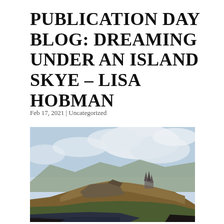PUBLICATION DAY BLOG: DREAMING UNDER AN ISLAND SKYE – LISA HOBMAN
Feb 17, 2021 | Uncategorized
[Figure (photo): Landscape photograph of the Isle of Skye showing rugged mountainside with rocky pinnacles (Old Man of Storr area), golden-brown hillside, low clouds, and a dark loch in the foreground under a pale blue sky.]